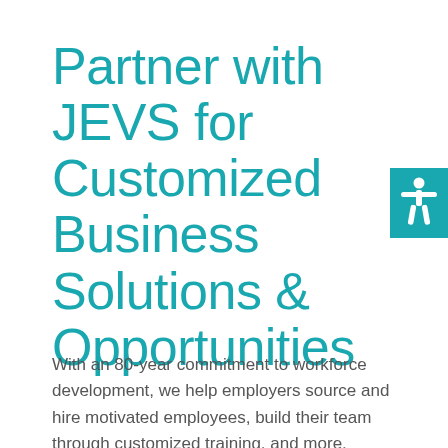Partner with JEVS for Customized Business Solutions & Opportunities
[Figure (illustration): Teal square icon with white accessibility/person figure with arms outstretched]
With an 80-year commitment to workforce development, we help employers source and hire motivated employees, build their team through customized training, and more.